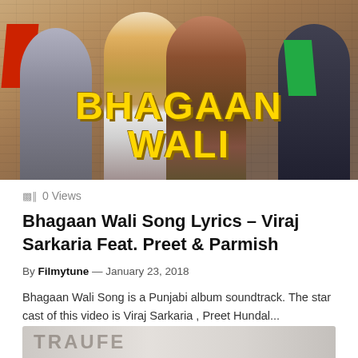[Figure (photo): Movie/music video promotional image showing four people (three men and one woman) posing on a rooftop. Bold yellow text reads 'BHAGAAN WALI' at the bottom of the image.]
0 Views
Bhagaan Wali Song Lyrics – Viraj Sarkaria Feat. Preet & Parmish
By Filmytune — January 23, 2018
Bhagaan Wali Song is a Punjabi album soundtrack. The star cast of this video is Viraj Sarkaria , Preet Hundal...
[Figure (photo): Partial preview of another article's thumbnail image at the bottom of the page, showing partial text 'TRAUFE' or similar in large letters.]